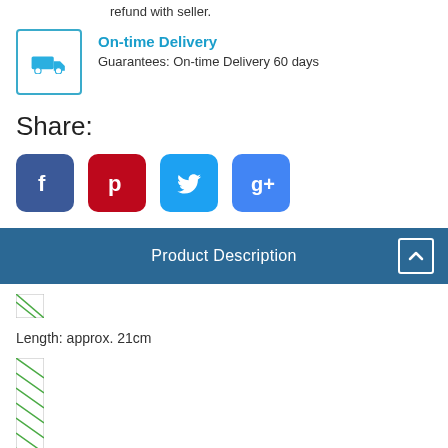refund with seller.
On-time Delivery
Guarantees: On-time Delivery 60 days
Share:
[Figure (infographic): Social media share buttons: Facebook, Pinterest, Twitter, Google+]
Product Description
[Figure (photo): Broken/loading image placeholder (small)]
Length: approx. 21cm
[Figure (photo): Broken/loading image placeholder (large, tall)]